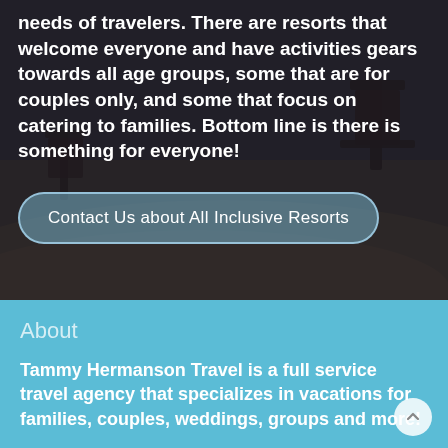needs of travelers. There are resorts that welcome everyone and have activities gears towards all age groups, some that are for couples only, and some that focus on catering to families. Bottom line is there is something for everyone!
Contact Us about All Inclusive Resorts
About
Tammy Hermanson Travel is a full service travel agency that specializes in vacations for families, couples, weddings, groups and more!